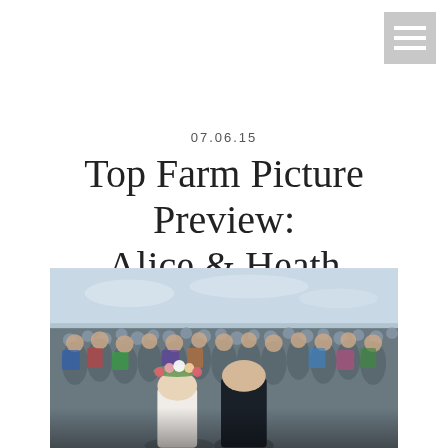[Figure (other): Navigation menu icon with three horizontal white lines on grey background, top-right corner]
07.06.15
Top Farm Picture Preview: Alice & Heath
Posted in Weddings
[Figure (photo): Outdoor wedding ceremony group photo showing a large crowd of guests watching the ceremony, with bride and groom in foreground against a blue sky]